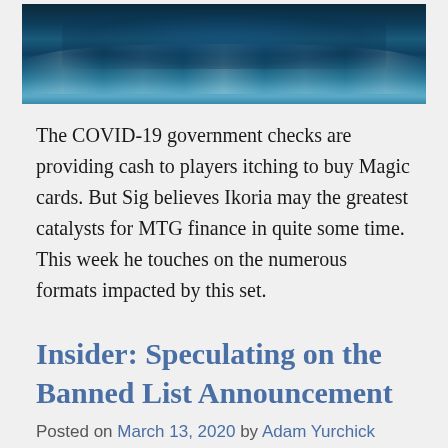[Figure (photo): Dark blue ocean waves painting, top portion visible]
The COVID-19 government checks are providing cash to players itching to buy Magic cards. But Sig believes Ikoria may the greatest catalysts for MTG finance in quite some time. This week he touches on the numerous formats impacted by this set.
Insider: Speculating on the Banned List Announcement
Posted on March 13, 2020 by Adam Yurchick
[Figure (photo): Blue fantasy artwork, partial view at bottom of page]